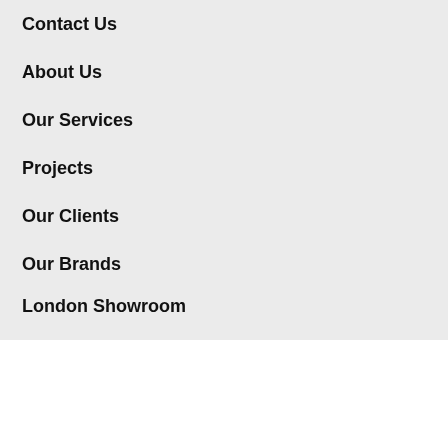Contact Us
About Us
Our Services
Projects
Our Clients
Our Brands
London Showroom
Trade Account
Ordering proc
USD 213
- 1 +
Delivery T
Request a Delivery Price Quote
Norse Lighting